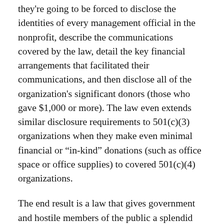they're going to be forced to disclose the identities of every management official in the nonprofit, describe the communications covered by the law, detail the key financial arrangements that facilitated their communications, and then disclose all of the organization's significant donors (those who gave $1,000 or more). The law even extends similar disclosure requirements to 501(c)(3) organizations when they make even minimal financial or “in-kind” donations (such as office space or office supplies) to covered 501(c)(4) organizations.
The end result is a law that gives government and hostile members of the public a splendid way to monitor private citizens who engage in speech on matters of public concern. This gets transparency and accountability exactly backwards, and it degrades the sanctity of anonymous speech, a right that was critical to the founding of our constitutional republic and has proven